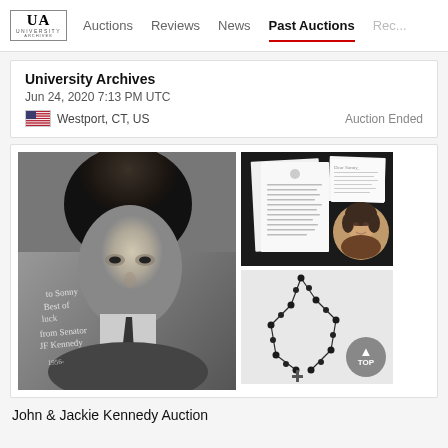UA University | Auctions  Reviews  News  Past Auctions  Rec...
University Archives
Jun 24, 2020 7:13 PM UTC
Westport, CT, US   Auction Ended
[Figure (photo): Black and white portrait photo of John F. Kennedy with handwritten inscription, alongside two smaller images: letters/documents with Jackie Kennedy portrait inset, and a rosary on white background. Below is a 'TOP' scroll button.]
John & Jackie Kennedy Auction